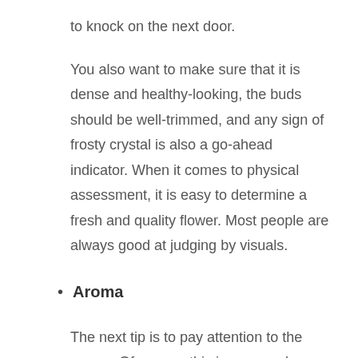to knock on the next door.
You also want to make sure that it is dense and healthy-looking, the buds should be well-trimmed, and any sign of frosty crystal is also a go-ahead indicator. When it comes to physical assessment, it is easy to determine a fresh and quality flower. Most people are always good at judging by visuals.
Aroma
The next tip is to pay attention to the aroma. Of course, this is easy and realistic